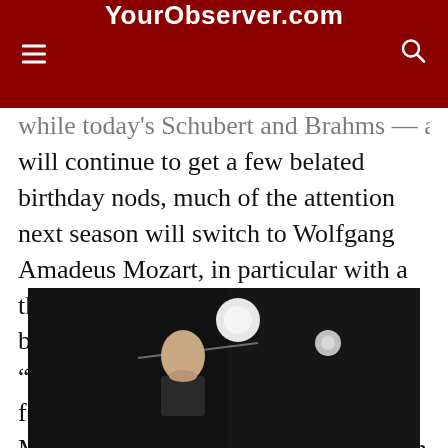YourObserver.com
will continue to get a few belated birthday nods, much of the attention next season will switch to Wolfgang Amadeus Mozart, in particular with a three-part Discover Mozart series, beginning, appropriately enough, with “Brilliant Beginnings,” Oct. 31, featuring early compositions by Mozart, Britten and Mendelssohn, with conductor Stephen Mulligan and piano soloist Dominic Celli.
[Figure (photo): A conductor or musician seen on a dark stage with stage lighting visible in the background and what appears to be a conductor's baton or microphone line.]